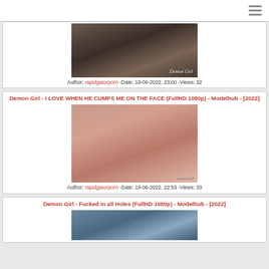[Figure (photo): Thumbnail image with watermark 'Demon Girl']
Author: rapidgatorporn -Date: 19-06-2022, 23:00 -Views: 32
Demon Girl - I LOVE WHEN HE CUMPS ME ON THE FACE (FullHD 1080p) - Modelhub - [2022]
[Figure (photo): Thumbnail image of video content]
Author: rapidgatorporn -Date: 19-06-2022, 22:53 -Views: 33
Demon Girl - Fucked in all Holes (FullHD 1080p) - Modelhub - [2022]
[Figure (photo): Thumbnail image of video content]